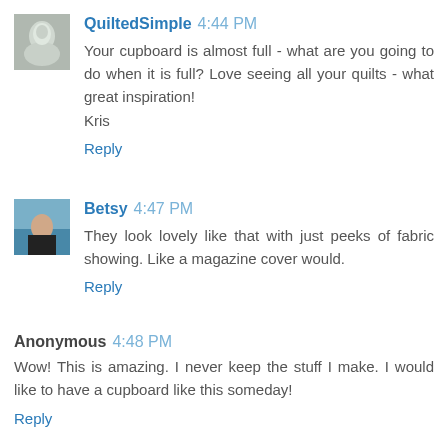QuiltedSimple 4:44 PM
Your cupboard is almost full - what are you going to do when it is full? Love seeing all your quilts - what great inspiration!
Kris
Reply
Betsy 4:47 PM
They look lovely like that with just peeks of fabric showing. Like a magazine cover would.
Reply
Anonymous 4:48 PM
Wow! This is amazing. I never keep the stuff I make. I would like to have a cupboard like this someday!
Reply